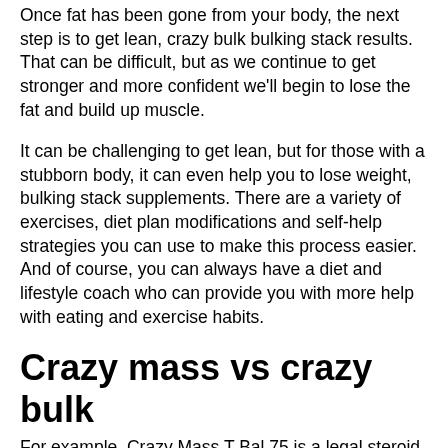Once fat has been gone from your body, the next step is to get lean, crazy bulk bulking stack results. That can be difficult, but as we continue to get stronger and more confident we'll begin to lose the fat and build up muscle.
It can be challenging to get lean, but for those with a stubborn body, it can even help you to lose weight, bulking stack supplements. There are a variety of exercises, diet plan modifications and self-help strategies you can use to make this process easier. And of course, you can always have a diet and lifestyle coach who can provide you with more help with eating and exercise habits.
Crazy mass vs crazy bulk
For example, Crazy Mass T Bal 75 is a legal steroid alternative that helps increase your muscle strengthand definition of your